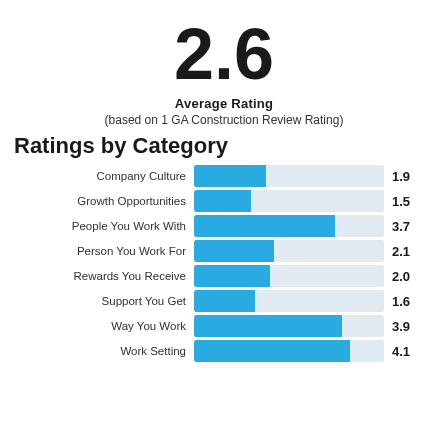2.6
Average Rating
(based on 1 GA Construction Review Rating)
Ratings by Category
[Figure (bar-chart): Ratings by Category]